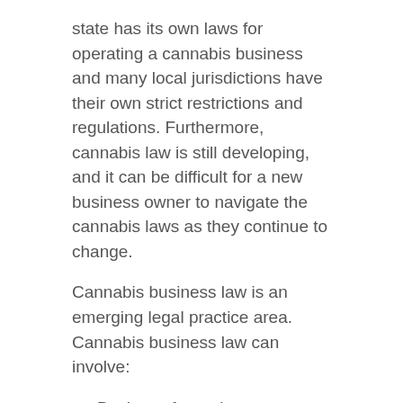state has its own laws for operating a cannabis business and many local jurisdictions have their own strict restrictions and regulations. Furthermore, cannabis law is still developing, and it can be difficult for a new business owner to navigate the cannabis laws as they continue to change.
Cannabis business law is an emerging legal practice area. Cannabis business law can involve:
Business formation
Regulatory compliance
Branding and marketing
Trademark law
Zoning and land use
Real estate
Litigation
With...